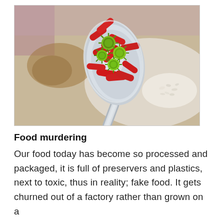[Figure (photo): A close-up photo of a metal spoon held up over a blurred plate of food in the background. The spoon contains red rod-shaped bacteria and green spiky virus/microbe particles, digitally rendered as a 3D illustration of food contamination.]
Food murdering
Our food today has become so processed and packaged, it is full of preservers and plastics, next to toxic, thus in reality; fake food. It gets churned out of a factory rather than grown on a